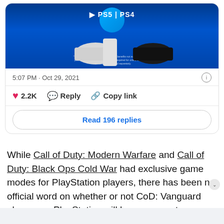[Figure (screenshot): PlayStation PS5 and PS4 promotional image with blue background showing controllers and consoles]
5:07 PM · Oct 29, 2021
2.2K  Reply  Copy link
Read 196 replies
While Call of Duty: Modern Warfare and Call of Duty: Black Ops Cold War had exclusive game modes for PlayStation players, there has been no official word on whether or not CoD: Vanguard players on PlayStation will have access to a game mode that players on PC or Xbox